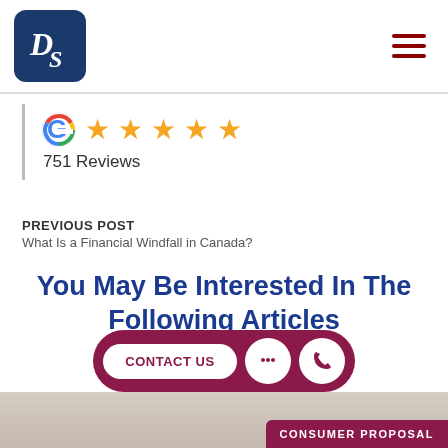[Figure (logo): DS logo in white on dark blue rounded square background, with hamburger menu icon (three dark red lines) on the right]
[Figure (infographic): Google G logo followed by five gold stars and text '751 Reviews' below]
PREVIOUS POST
What Is a Financial Windfall in Canada?
You May Be Interested In The Following Articles
[Figure (infographic): Dark pink pill-shaped bar with 'CONTACT US' button, chat icon button, and phone icon button]
CONSUMER PROPOSAL